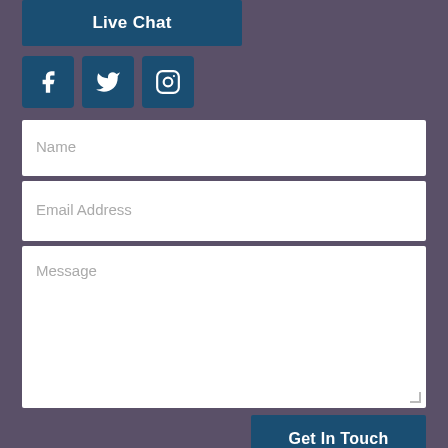Live Chat
[Figure (infographic): Three social media icon buttons: Facebook (f), Twitter (bird), Instagram (camera)]
Name
Email Address
Message
Get In Touch